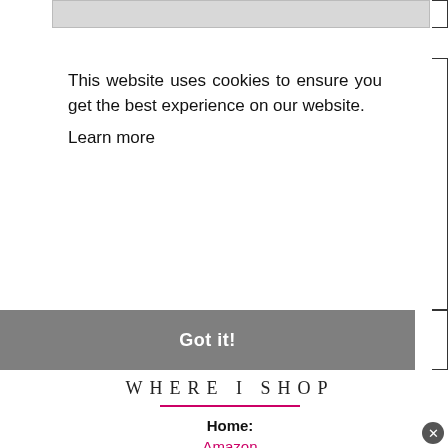[Figure (screenshot): Cookie consent banner overlay on a website. Shows a gray image bar at top, cookie text, Learn more link, and a gray Got it! button.]
This website uses cookies to ensure you get the best experience on our website. Learn more
Got it!
WHERE I SHOP
Home:
Amazon
Anthropologie
H&M Home
Hayneedle
Overstock
Target
TJ Maxx
Urban Outfitters
Wayfair
West Elm